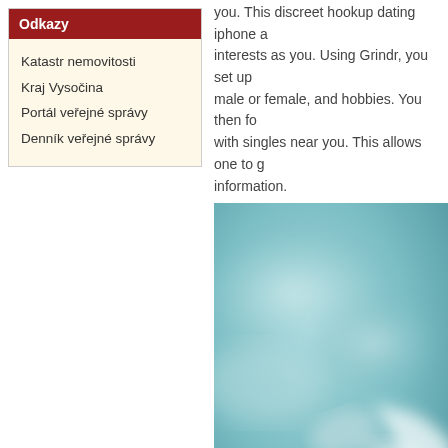Odkazy
Katastr nemovitosti
Kraj Vysočina
Portál veřejné správy
Denník veřejné správy
you. This discreet hookup dating iphone a interests as you. Using Grindr, you set up male or female, and hobbies. You then fo with singles near you. This allows one to g information.
[Figure (photo): A blurred/soft-focus photo showing a light blue-teal background with partial white and soft shapes, possibly a person or figure partially visible.]